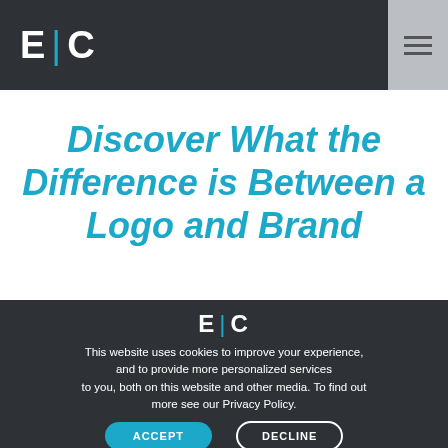E | C
Discover What the Difference is Between a Logo and Brand
How to Nail the Perfect
E | C
This website uses cookies to improve your experience, and to provide more personalized services to you, both on this website and other media. To find out more see our Privacy Policy.
ACCEPT  DECLINE